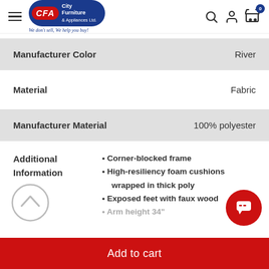[Figure (logo): City Furniture & Appliances Ltd. logo with tagline 'We don't sell, We help you buy!']
| Attribute | Value |
| --- | --- |
| Manufacturer Color | River |
| Material | Fabric |
| Manufacturer Material | 100% polyester |
| Additional Information | • Corner-blocked frame
• High-resiliency foam cushions wrapped in thick poly
• Exposed feet with faux wood
• Arm height 34" |